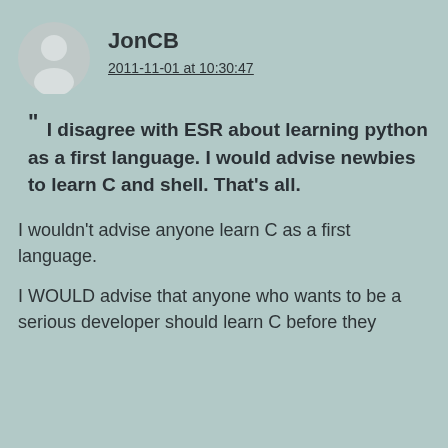[Figure (illustration): Circular grey avatar icon showing a generic user silhouette]
JonCB
2011-11-01 at 10:30:47
" I disagree with ESR about learning python as a first language. I would advise newbies to learn C and shell. That's all.
I wouldn't advise anyone learn C as a first language.
I WOULD advise that anyone who wants to be a serious developer should learn C before they